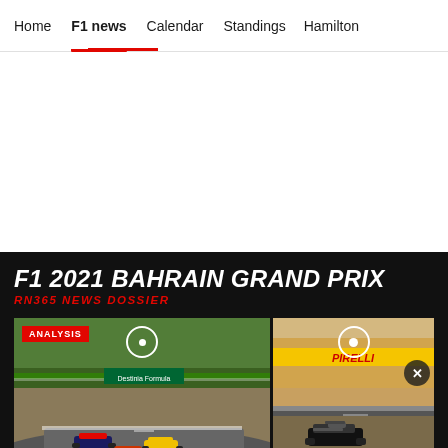Home  F1 news  Calendar  Standings  Hamilton
[Figure (other): Advertisement / blank white area]
F1 2021 BAHRAIN GRAND PRIX
RN365 NEWS DOSSIER
[Figure (photo): Two F1 race photo cards side by side. Left card shows F1 cars on a green-lined circuit (Belgium/Spa look) with an ANALYSIS badge. Right card shows an F1 car on a desert circuit (Bahrain) with navigation circle icons and an X close button overlay.]